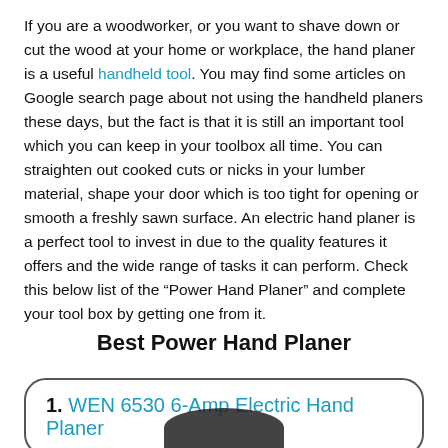If you are a woodworker, or you want to shave down or cut the wood at your home or workplace, the hand planer is a useful handheld tool. You may find some articles on Google search page about not using the handheld planers these days, but the fact is that it is still an important tool which you can keep in your toolbox all time. You can straighten out cooked cuts or nicks in your lumber material, shape your door which is too tight for opening or smooth a freshly sawn surface. An electric hand planer is a perfect tool to invest in due to the quality features it offers and the wide range of tasks it can perform. Check this below list of the “Power Hand Planer” and complete your tool box by getting one from it.
Best Power Hand Planer
1. WEN 6530 6-Amp Electric Hand Planer
[Figure (photo): Partial view of a dark-colored power hand planer tool, cropped at the bottom of the page]